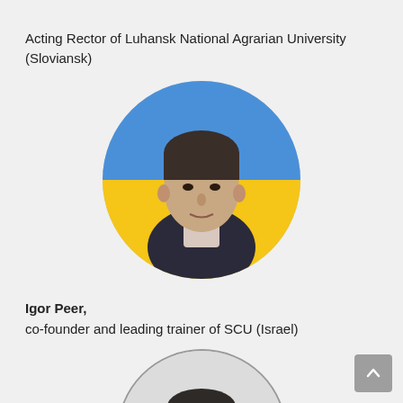Acting Rector of Luhansk National Agrarian University (Sloviansk)
[Figure (photo): Circular portrait photo of a middle-aged man in a dark vest and light striped shirt, with a Ukrainian flag visible in the background]
Igor Peer,
co-founder and leading trainer of SCU (Israel)
[Figure (photo): Circular portrait photo of a younger man with glasses and dark hair, wearing a dark jacket]